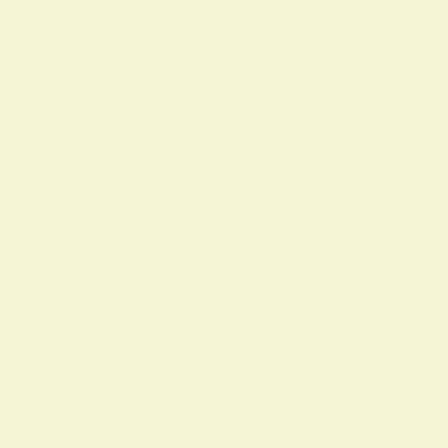Numeric index listing from 1197–1853, showing sequences of consecutive numbers arranged in rows, each underlined as hyperlinks. The left portion (roughly columns 1-9) of each row is visible, with the rightmost number cut off at the page edge. Rows increment by 27 each line.